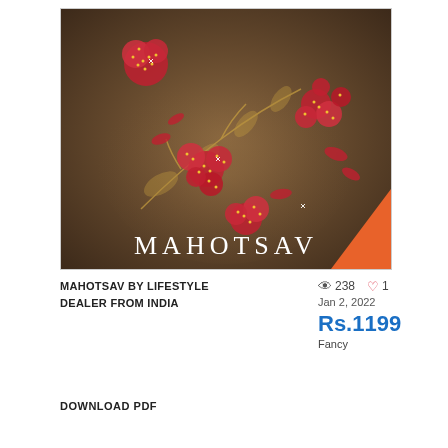[Figure (photo): Close-up photo of embroidered Indian fabric with red floral motifs decorated with gold/crystal beads on a dark golden-brown silk background with the brand name MAHOTSAV overlaid in white serif letters, and an orange corner]
MAHOTSAV BY LIFESTYLE DEALER FROM INDIA
238  1
Jan 2, 2022
Rs.1199
Fancy
DOWNLOAD PDF